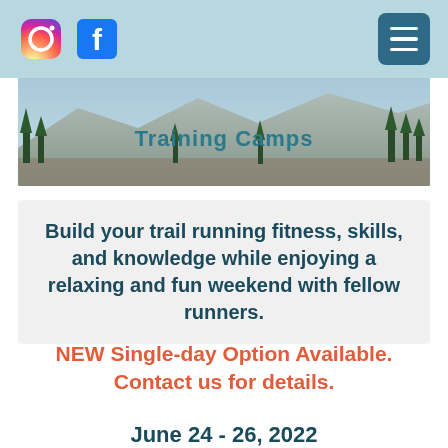Training Camps - social media and navigation header
[Figure (illustration): Mountain landscape hero image with trees and rocky terrain. Overlay text reads 'Training Camps' in teal bold font.]
Build your trail running fitness, skills, and knowledge while enjoying a relaxing and fun weekend with fellow runners.
NEW Single-day Option Available. Contact us for details.
June 24 - 26, 2022